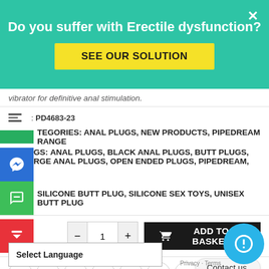[Figure (screenshot): Teal popup banner with text 'Do you suffer with Erectile dysfunction?' and yellow 'SEE OUR SOLUTION' button and white X close button]
vibrator for definitive anal stimulation.
SKU: PD4683-23
CATEGORIES: ANAL PLUGS, NEW PRODUCTS, PIPEDREAM RANGE
TAGS: ANAL PLUGS, BLACK ANAL PLUGS, BUTT PLUGS, LARGE ANAL PLUGS, OPEN ENDED PLUGS, PIPEDREAM, SILICONE BUTT PLUG, SILICONE SEX TOYS, UNISEX BUTT PLUG
- 1 + ADD TO BASKET
Social share buttons: f, twitter, in, G+, pinterest, email, tumblr, reddit
Contact us.
ADD TO WISHLIST   COMPARE
Select Language